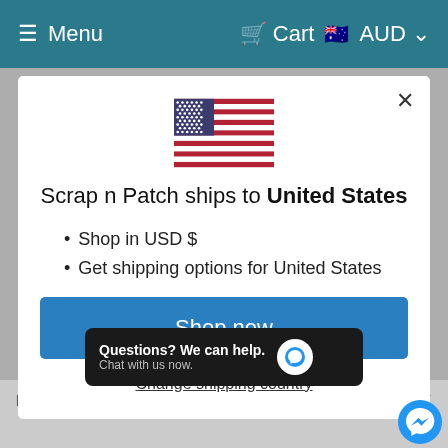Menu   Cart   AUD
[Figure (screenshot): US flag emoji/icon displayed at top of modal]
Scrap n Patch ships to United States
Shop in USD $
Get shipping options for United States
Shop now
Change shipping country
Questions? We can help. Chat with us now.
products are imported ...  you from factory or supplier